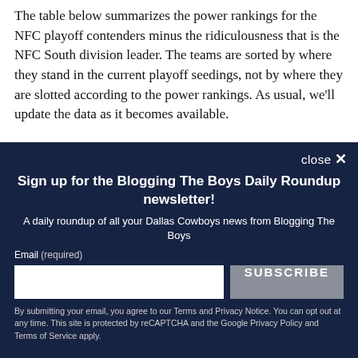The table below summarizes the power rankings for the NFC playoff contenders minus the ridiculousness that is the NFC South division leader. The teams are sorted by where they stand in the current playoff seedings, not by where they are slotted according to the power rankings. As usual, we'll update the data as it becomes available.
close ×
Sign up for the Blogging The Boys Daily Roundup newsletter!
A daily roundup of all your Dallas Cowboys news from Blogging The Boys
Email (required)
SUBSCRIBE
By submitting your email, you agree to our Terms and Privacy Notice. You can opt out at any time. This site is protected by reCAPTCHA and the Google Privacy Policy and Terms of Service apply.